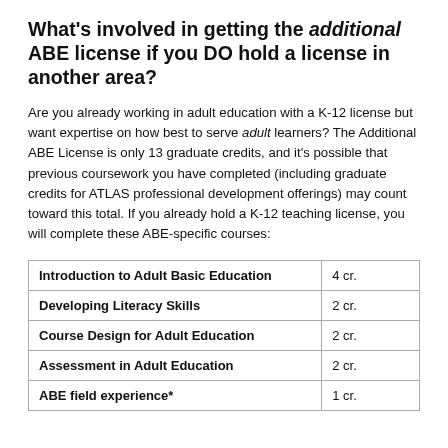What's involved in getting the additional ABE license if you DO hold a license in another area?
Are you already working in adult education with a K-12 license but want expertise on how best to serve adult learners? The Additional ABE License is only 13 graduate credits, and it's possible that previous coursework you have completed (including graduate credits for ATLAS professional development offerings) may count toward this total. If you already hold a K-12 teaching license, you will complete these ABE-specific courses:
| Introduction to Adult Basic Education | 4 cr. |
| Developing Literacy Skills | 2 cr. |
| Course Design for Adult Education | 2 cr. |
| Assessment in Adult Education | 2 cr. |
| ABE field experience* | 1 cr. |